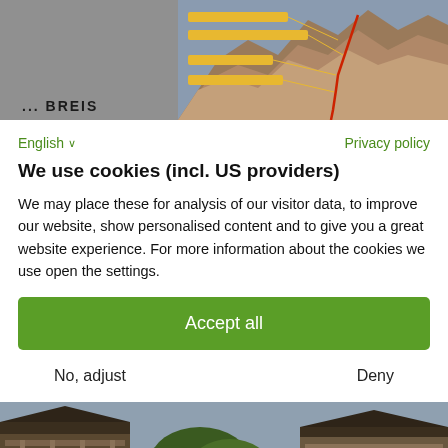[Figure (screenshot): Top portion showing a mountain/rock face image on the right with route annotations, and a grey panel on the left partially showing text 'BREIS']
English ∨
Privacy policy
We use cookies (incl. US providers)
We may place these for analysis of our visitor data, to improve our website, show personalised content and to give you a great website experience. For more information about the cookies we use open the settings.
Accept all
No, adjust
Deny
[Figure (photo): Bottom photo showing alpine/wooden chalet buildings with balconies against a sky background]